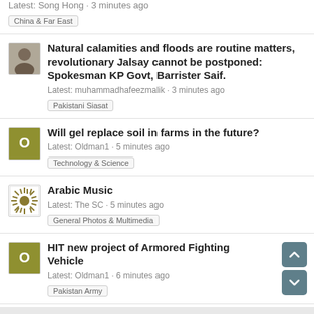Latest: Song Hong · 3 minutes ago
China & Far East
Natural calamities and floods are routine matters, revolutionary Jalsay cannot be postponed: Spokesman KP Govt, Barrister Saif.
Latest: muhammadhafeezmalik · 3 minutes ago
Pakistani Siasat
Will gel replace soil in farms in the future?
Latest: Oldman1 · 5 minutes ago
Technology & Science
Arabic Music
Latest: The SC · 5 minutes ago
General Photos & Multimedia
HIT new project of Armored Fighting Vehicle
Latest: Oldman1 · 6 minutes ago
Pakistan Army